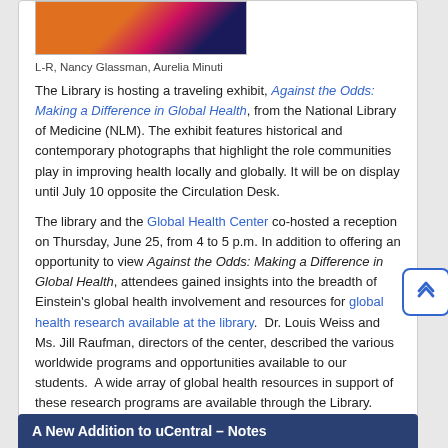[Figure (photo): Partial photo showing two people, one in pink/orange and one in dark suit, with an orange box/case visible]
L-R, Nancy Glassman, Aurelia Minuti
The Library is hosting a traveling exhibit, Against the Odds: Making a Difference in Global Health, from the National Library of Medicine (NLM). The exhibit features historical and contemporary photographs that highlight the role communities play in improving health locally and globally. It will be on display until July 10 opposite the Circulation Desk.
The library and the Global Health Center co-hosted a reception on Thursday, June 25, from 4 to 5 p.m. In addition to offering an opportunity to view Against the Odds: Making a Difference in Global Health, attendees gained insights into the breadth of Einstein’s global health involvement and resources for global health research available at the library.  Dr. Louis Weiss and Ms. Jill Raufman, directors of the center, described the various worldwide programs and opportunities available to our students.  A wide array of global health resources in support of these research programs are available through the Library.
A New Addition to uCentral – Notes